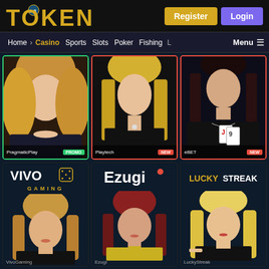TOKEN 38 | Register | Login
Home > Casino | Sports | Slots | Poker | Fishing | L... | Menu
[Figure (screenshot): PragmaticPlay casino card with PROMO badge - woman with blonde hair]
[Figure (screenshot): Playtech casino card with NEW badge - woman with blonde hair in black dress]
[Figure (screenshot): eBET casino card with NEW badge - woman holding playing cards in black dress]
[Figure (screenshot): VivoGaming casino card - woman with long brown hair, Vivo Gaming logo]
[Figure (screenshot): Ezugi casino card - woman with red hair in yellow dress, Ezugi logo]
[Figure (screenshot): LuckyStreak casino card - blonde woman in black, LuckyStreak logo]